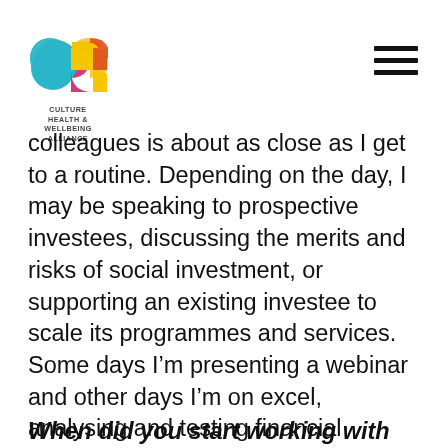CULTURE HEALTH & WELLBEING ALLIANCE
colleagues is about as close as I get to a routine. Depending on the day, I may be speaking to prospective investees, discussing the merits and risks of social investment, or supporting an existing investee to scale its programmes and services.  Some days I'm presenting a webinar and other days I'm on excel, analysing and testing financial models. The mix of activities keeps me on my toes and helps to break up the day- which is very necessary when you've worked from home for the last year!
When did you start working with